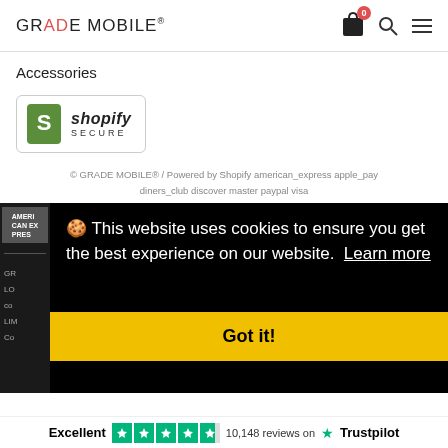GRADE MOBILE®
Accessories
[Figure (logo): Shopify Secure badge with green bag logo and italic shopify text]
© GRADE MOBILE® / Powered by Shopify american_express apple_pay diners_club discover master paypal visa
🍪 This website uses cookies to ensure you get the best experience on our website.  Learn more
Got it!
Excellent  10,148 reviews on  Trustpilot